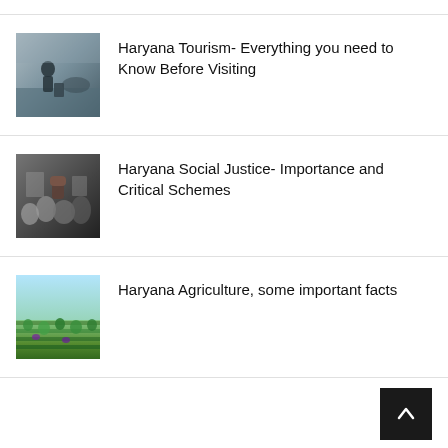Haryana Tourism- Everything you need to Know Before Visiting
Haryana Social Justice- Importance and Critical Schemes
Haryana Agriculture, some important facts